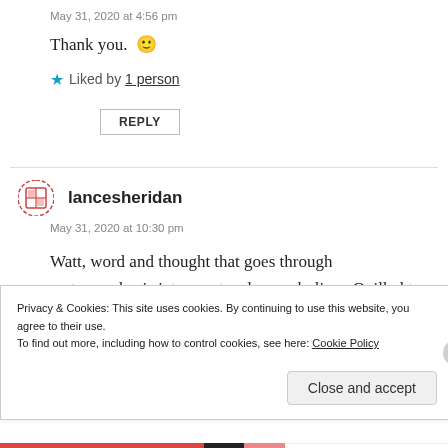May 31, 2020 at 4:56 pm
Thank you. 🙂
★ Liked by 1 person
REPLY
lancesheridan
May 31, 2020 at 10:30 pm
Watt, word and thought that goes through metamorphosis into spectacular symbolism. Quilled to perfection!
Privacy & Cookies: This site uses cookies. By continuing to use this website, you agree to their use. To find out more, including how to control cookies, see here: Cookie Policy